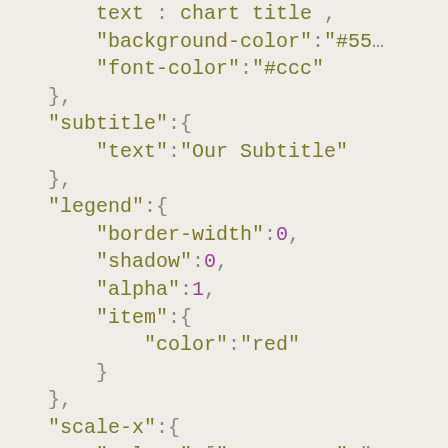text : chart title , "background-color":"#55..." "font-color":"#ccc" }, "subtitle":{ "text":"Our Subtitle" }, "legend":{ "border-width":0, "shadow":0, "alpha":1, "item":{ "color":"red" } }, "scale-x":{ "values":["Quarter 1","Q...